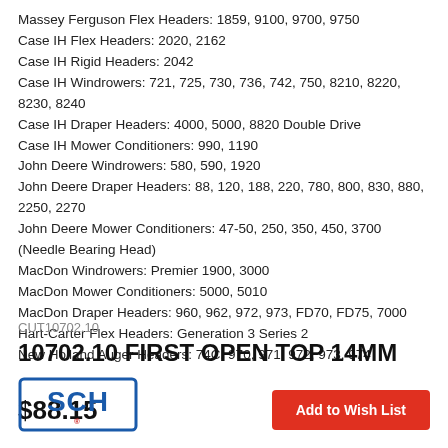Massey Ferguson Flex Headers: 1859, 9100, 9700, 9750
Case IH Flex Headers: 2020, 2162
Case IH Rigid Headers: 2042
Case IH Windrowers: 721, 725, 730, 736, 742, 750, 8210, 8220, 8230, 8240
Case IH Draper Headers: 4000, 5000, 8820 Double Drive
Case IH Mower Conditioners: 990, 1190
John Deere Windrowers: 580, 590, 1920
John Deere Draper Headers: 88, 120, 188, 220, 780, 800, 830, 880, 2250, 2270
John Deere Mower Conditioners: 47-50, 250, 350, 450, 3700 (Needle Bearing Head)
MacDon Windrowers: Premier 1900, 3000
MacDon Mower Conditioners: 5000, 5010
MacDon Draper Headers: 960, 962, 972, 973, FD70, FD75, 7000
Hart-Carter Flex Headers: Generation 3 Series 2
New Holland Auger Headers: 74C, 970, 971, 972, 973, 974
$88.15
Add to Wish List
CUT10702.10
10702.10 FIRST OPEN TOP 14MM
[Figure (logo): SCH logo in blue and red on white background]